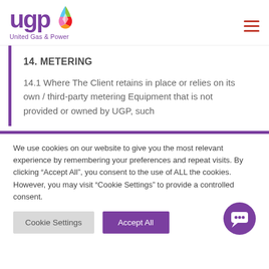[Figure (logo): UGP United Gas & Power logo with colourful teardrop icon and purple wordmark]
14. METERING
14.1 Where The Client retains in place or relies on its own / third-party metering Equipment that is not provided or owned by UGP, such
We use cookies on our website to give you the most relevant experience by remembering your preferences and repeat visits. By clicking “Accept All”, you consent to the use of ALL the cookies. However, you may visit “Cookie Settings” to provide a controlled consent.